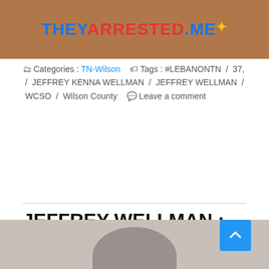[Figure (photo): Top portion of webpage showing TheyArrested.me logo over a photo of a person in a red/pink shirt]
Categories : TN-Wilson   Tags : #LEBANONTN / 37, / JEFFREY KENNA WELLMAN / JEFFREY WELLMAN / WCSO / Wilson County   Leave a comment
JEFFREY WELLMAN : DUI
On December 13, 2020 / By dlayne
37-year-old JEFFREY KENNA WELLMAN, of #LEBANONTN, was booked into the #WilsonCountyTN jail Sunday, charged with DUI . Bond was set at : 0
[Figure (photo): Bottom portion of webpage showing the top of a mugshot photo on a gray background]